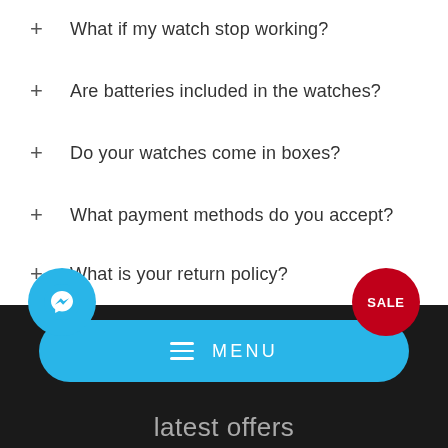+ What if my watch stop working?
+ Are batteries included in the watches?
+ Do your watches come in boxes?
+ What payment methods do you accept?
+ What is your return policy?
[Figure (logo): Facebook Messenger icon in a blue circle]
[Figure (logo): SALE badge in a red circle]
[Figure (screenshot): Blue rounded MENU button with hamburger icon]
latest offers